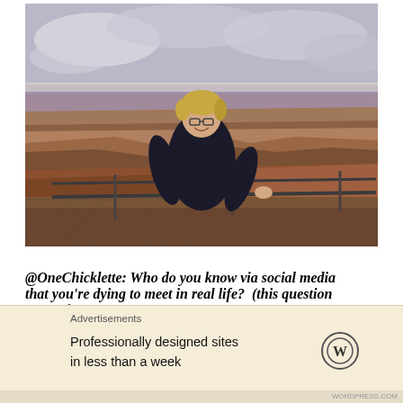[Figure (photo): A woman with short blonde hair and glasses wearing a dark jacket, standing at a railing at the Grand Canyon overlook. Rocky canyon layers and cloudy sky in background.]
@OneChicklette: Who do you know via social media that you're dying to meet in real life?  (this question came via
[Figure (other): Advertisement banner: 'Professionally designed sites in less than a week' with WordPress logo.]